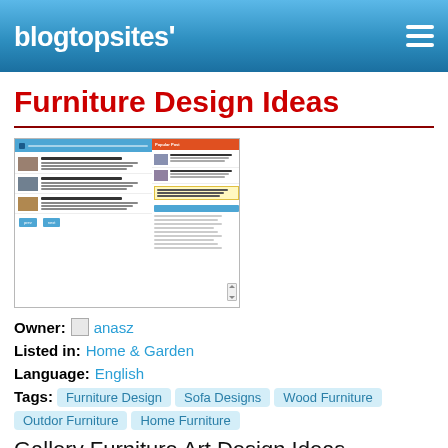blogtopsites'
Furniture Design Ideas
[Figure (screenshot): Screenshot of a blog website showing furniture design articles with images and a sidebar]
Owner: anasz
Listed in: Home & Garden
Language: English
Tags: Furniture Design   Sofa Designs   Wood Furniture   Outdor Furniture   Home Furniture
Gallery Furniture Art Design Ideas